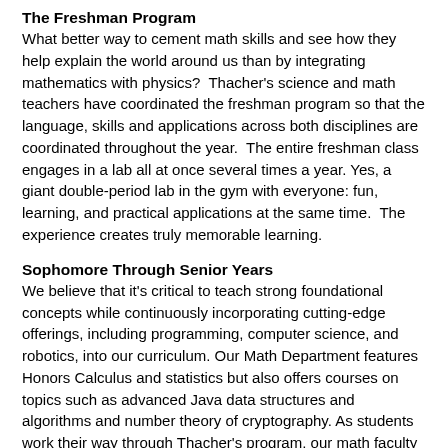The Freshman Program
What better way to cement math skills and see how they help explain the world around us than by integrating mathematics with physics?  Thacher's science and math teachers have coordinated the freshman program so that the language, skills and applications across both disciplines are coordinated throughout the year.  The entire freshman class engages in a lab all at once several times a year. Yes, a giant double-period lab in the gym with everyone: fun, learning, and practical applications at the same time.  The experience creates truly memorable learning.
Sophomore Through Senior Years
We believe that it's critical to teach strong foundational concepts while continuously incorporating cutting-edge offerings, including programming, computer science, and robotics, into our curriculum. Our Math Department features Honors Calculus and statistics but also offers courses on topics such as advanced Java data structures and algorithms and number theory of cryptography. As students work their way through Thacher's program, our math faculty members are regularly